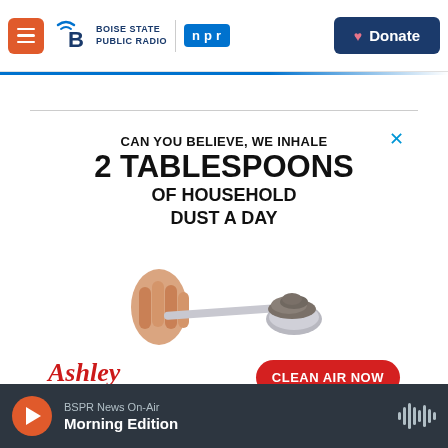Boise State Public Radio | NPR | Donate
[Figure (screenshot): Advertisement for Ashley Heat Air Water showing a hand holding a spoon with dust. Text: CAN YOU BELIEVE, WE INHALE 2 TABLESPOONS OF HOUSEHOLD DUST A DAY. Ashley logo with CLEAN AIR NOW button.]
BSPR News On-Air — Morning Edition (player bar)